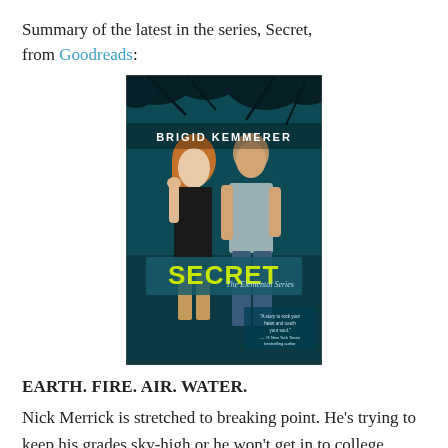Summary of the latest in the series, Secret, from Goodreads:
[Figure (photo): Book cover of 'Secret' by Brigid Kemmerer, part of The Elemental Series. Shows a young woman with red hair in a black dress and a young man in a grey t-shirt standing against a dark teal forest background. The title 'SECRET' appears in large yellow letters with 'The Elemental Series' in script beneath it. A review quote is visible in the lower right corner.]
EARTH. FIRE. AIR. WATER.
Nick Merrick is stretched to breaking point. He's trying to keep his grades sky-high or he won't get in to college.